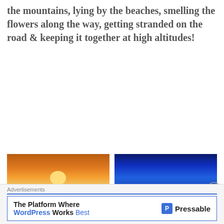the mountains, lying by the beaches, smelling the flowers along the way, getting stranded on the road & keeping it together at high altitudes!
[Figure (photo): Sunset over a beach with headphones/bag in the foreground, warm orange and red tones, watermark 'Life on Weekends']
[Figure (photo): Blue-painted building exterior with people sitting along the wall, vivid blue HDR tones]
[Figure (photo): Mountain landscape with flag, clear blue sky]
[Figure (photo): Aerial view above clouds with mountains visible below]
Advertisements
The Platform Where WordPress Works Best — Pressable